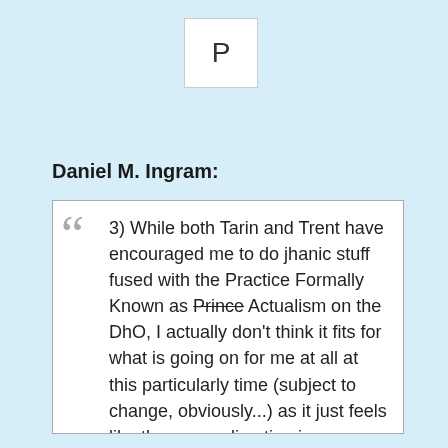P
Daniel M. Ingram:
3) While both Tarin and Trent have encouraged me to do jhanic stuff fused with the Practice Formally Known as Prince Actualism on the DhO, I actually don't think it fits for what is going on for me at all at this particularly time (subject to change, obviously...) as it just feels like the wrong direction in some way, like having what I will loosely refer to as inner space vanishing is more the current trend, and any jhana seems to be doing something that one way or the